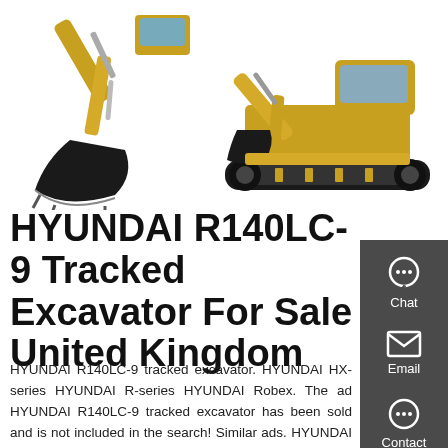[Figure (photo): Two Hyundai tracked excavators shown side by side — left showing the boom/bucket arm close up, right showing full machine profile in yellow/orange color]
HYUNDAI R140LC-9 Tracked Excavator For Sale United Kingdom
HYUNDAI R140LC-9 tracked excavator. HYUNDAI HX-series HYUNDAI R-series HYUNDAI Robex. The ad HYUNDAI R140LC-9 tracked excavator has been sold and is not included in the search! Similar ads. HYUNDAI R145LCR-9A price on request Tracked excavator 2015 7844 m/h United Kingdom, BRISTOL. HYUNDAI HX330L price on